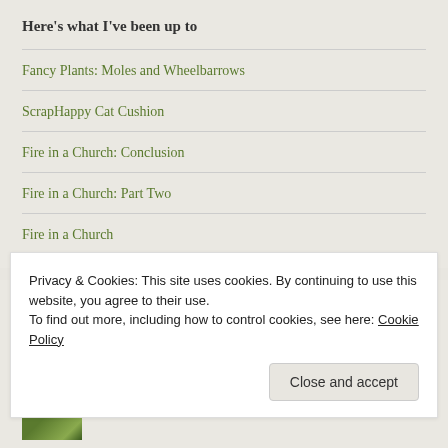Here's what I've been up to
Fancy Plants: Moles and Wheelbarrows
ScrapHappy Cat Cushion
Fire in a Church: Conclusion
Fire in a Church: Part Two
Fire in a Church
Top Posts & Pages
Drooping Flowers and the Hat-Pin Trick
Privacy & Cookies: This site uses cookies. By continuing to use this website, you agree to their use.
To find out more, including how to control cookies, see here: Cookie Policy
Close and accept